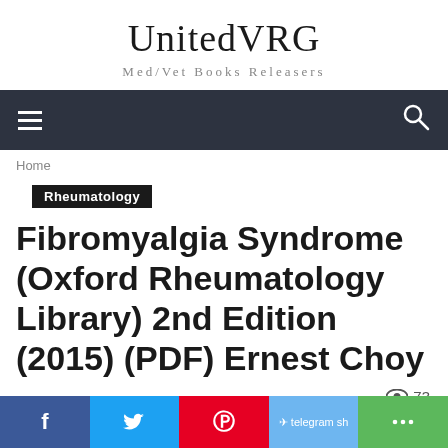UnitedVRG
Med/Vet Books Releasers
[Figure (screenshot): Dark navigation bar with hamburger menu icon on left and search icon on right]
Home
Rheumatology
Fibromyalgia Syndrome (Oxford Rheumatology Library) 2nd Edition (2015) (PDF) Ernest Choy
73
[Figure (screenshot): Social share bar with Facebook, Twitter, Pinterest, Telegram, and share buttons]